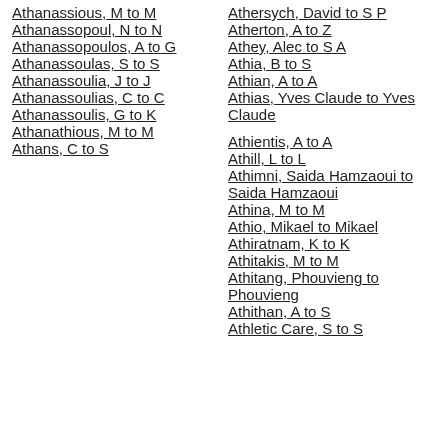Athanassious, M to M
Athanassopoul, N to N
Athanassopoulos, A to G
Athanassoulas, S to S
Athanassoulia, J to J
Athanassoulias, C to C
Athanassoulis, G to K
Athanathious, M to M
Athans, C to S
Athersych, David to S P
Atherton, A to Z
Athey, Alec to S A
Athia, B to S
Athian, A to A
Athias, Yves Claude to Yves Claude
Athientis, A to A
Athill, L to L
Athimni, Saida Hamzaoui to Saida Hamzaoui
Athina, M to M
Athio, Mikael to Mikael
Athiratnam, K to K
Athitakis, M to M
Athitang, Phouvieng to Phouvieng
Athithan, A to S
Athletic Care, S to S